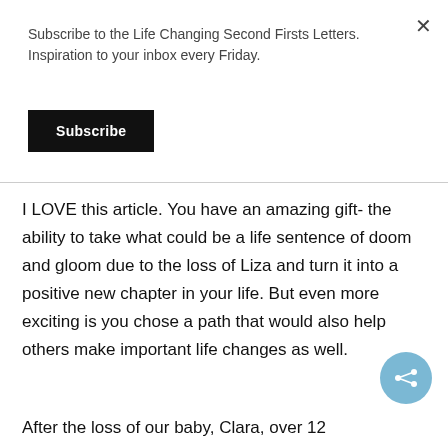Subscribe to the Life Changing Second Firsts Letters. Inspiration to your inbox every Friday.
Subscribe
I LOVE this article. You have an amazing gift- the ability to take what could be a life sentence of doom and gloom due to the loss of Liza and turn it into a positive new chapter in your life. But even more exciting is you chose a path that would also help others make important life changes as well.
After the loss of our baby, Clara, over 12